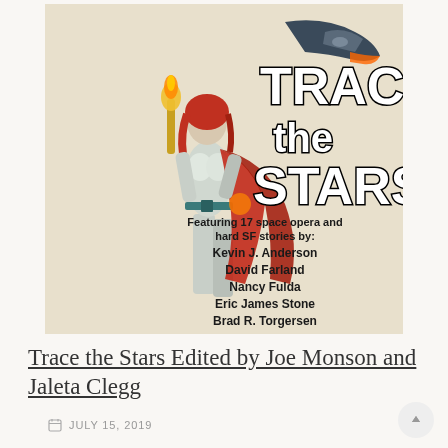[Figure (illustration): Book cover for 'Trace the Stars' — a science fiction anthology. Shows a silver-clad female figure with red hair and a red cape holding a torch-like weapon, a spaceship in the upper right, on a pale background. Bold futuristic lettering reads 'TRACE the STARS'. Below: 'Featuring 17 space opera and hard SF stories by: Kevin J. Anderson, David Farland, Nancy Fulda, Eric James Stone, Brad R. Torgersen'.]
Trace the Stars Edited by Joe Monson and Jaleta Clegg
JULY 15, 2019